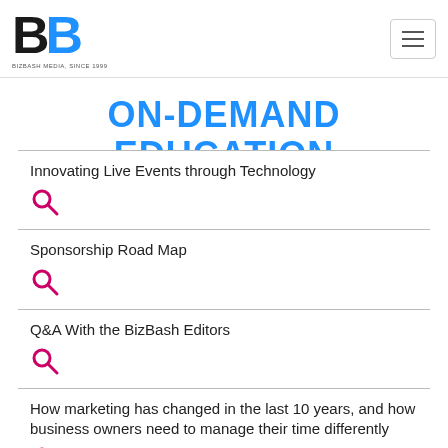BB BizBash logo and hamburger menu
ON-DEMAND EDUCATION
Innovating Live Events through Technology
Sponsorship Road Map
Q&A With the BizBash Editors
How marketing has changed in the last 10 years, and how business owners need to manage their time differently